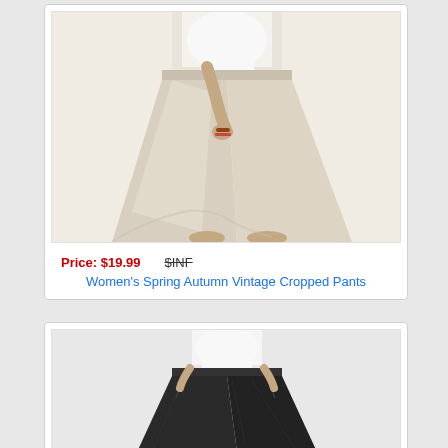[Figure (photo): Woman wearing wide-leg beige/linen cropped pants, holding up fabric of the pants, wearing a white top]
Price: $19.99   $INF
Women's Spring Autumn Vintage Cropped Pants
[Figure (photo): Woman wearing wide-leg dark/black linen pants with elastic waist, wearing a white top, hands in pockets]